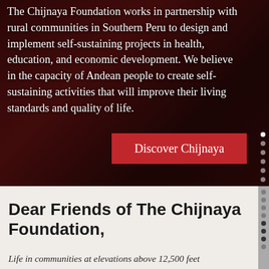The Chijnaya Foundation works in partnership with rural communities in Southern Peru to design and implement self-sustaining projects in health, education, and economic development. We believe in the capacity of Andean people to create self-sustaining activities that will improve their living standards and quality of life.
Discover Chijnaya
Dear Friends of The Chijnaya Foundation,
Life in communities at elevations above 12,500 feet